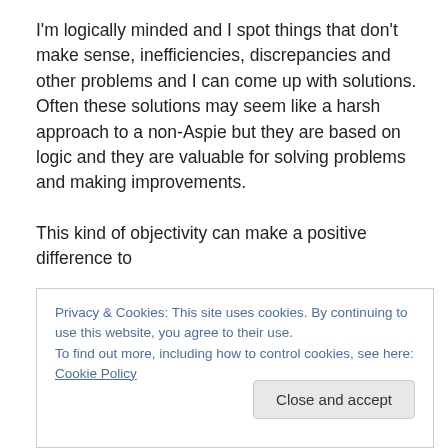I'm logically minded and I spot things that don't make sense, inefficiencies, discrepancies and other problems and I can come up with solutions. Often these solutions may seem like a harsh approach to a non-Aspie but they are based on logic and they are valuable for solving problems and making improvements.

This kind of objectivity can make a positive difference to
Privacy & Cookies: This site uses cookies. By continuing to use this website, you agree to their use.
To find out more, including how to control cookies, see here: Cookie Policy
Close and accept
Some people think Aspies aren't creative but that's not